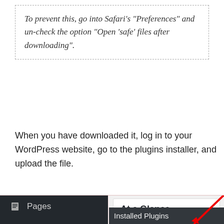To prevent this, go into Safari's "Preferences" and un-check the option "Open 'safe' files after downloading".
When you have downloaded it, log in to your WordPress website, go to the plugins installer, and upload the file.
[Figure (screenshot): Screenshot of WordPress admin dashboard showing the left sidebar with menu items: Pages, Comments, Appearance, Plugins (highlighted in blue). On the right side is a widget panel showing 'At a Glance' with '1 Post' and '1 Comment' entries. At the bottom right is an 'Installed Plugins' bar with a red arrow pointing to Plugins.]